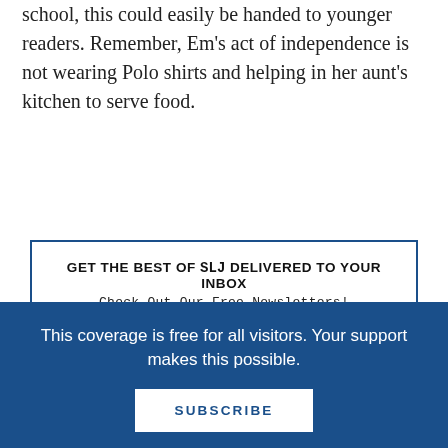school, this could easily be handed to younger readers. Remember, Em's act of independence is not wearing Polo shirts and helping in her aunt's kitchen to serve food.
[Figure (infographic): Newsletter subscription call-to-action box with blue border. Headline: GET THE BEST OF SLJ DELIVERED TO YOUR INBOX. Subhead: Check Out Our Free Newsletters! Button: LEARN MORE]
And last but not least: the food. Oh, the food. My favorite parts were the food. Em knows food: Em
This coverage is free for all visitors. Your support makes this possible.